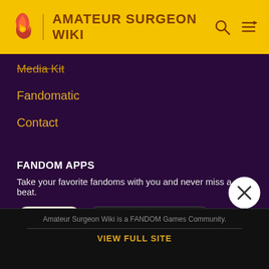AMATEUR SURGEON WIKI
Media Kit
Fandomatic
Contact
FANDOM APPS
Take your favorite fandoms with you and never miss a beat.
[Figure (logo): Fandom app icon: pink/red flame shape with yellow heart on beige background]
[Figure (screenshot): Download on the App Store button]
[Figure (screenshot): Get it on Google Play button]
Amateur Surgeon Wiki is a FANDOM Games Community.
VIEW FULL SITE